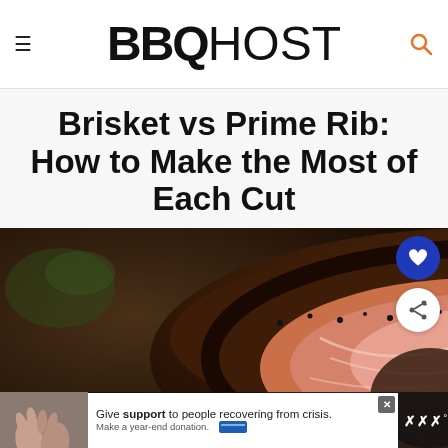BBQ HOST
Brisket vs Prime Rib: How to Make the Most of Each Cut
[Figure (photo): Close-up photo of a sliced prime rib roast with a dark crust and pink interior, with blurred green herbs and sides in background]
[Figure (photo): Advertisement banner: Give support to people recovering from crisis. Make a year-end donation.]